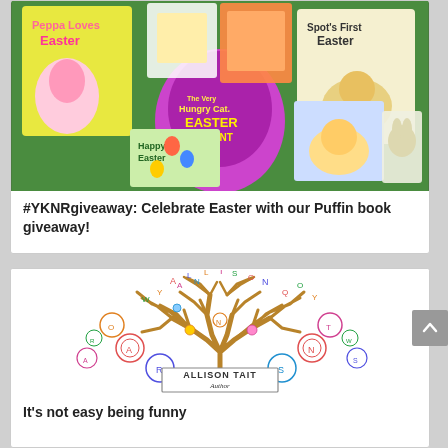[Figure (photo): Colorful Easter-themed children's books arranged on a green background, including Peppa Loves Easter, Spot's First Easter, Happy Easter, and an Easter Egg Hunt book]
#YKNRgiveaway: Celebrate Easter with our Puffin book giveaway!
[Figure (illustration): Allison Tait Author logo featuring a decorative tree with colorful letters and flowers, with a rectangular border saying ALLISON TAIT Author]
It's not easy being funny